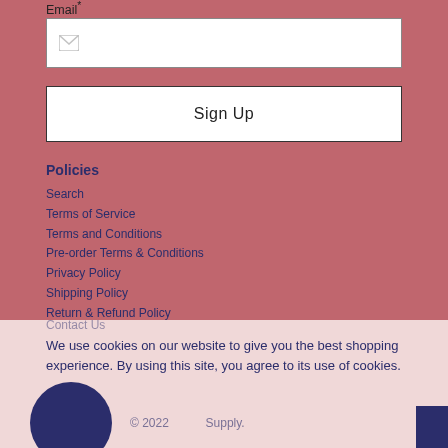Email*
[Figure (screenshot): Email input field with envelope icon placeholder]
Sign Up
Policies
Search
Terms of Service
Terms and Conditions
Pre-order Terms & Conditions
Privacy Policy
Shipping Policy
Return & Refund Policy
Contact Us
We use cookies on our website to give you the best shopping experience. By using this site, you agree to its use of cookies.
© 2022 Supply.